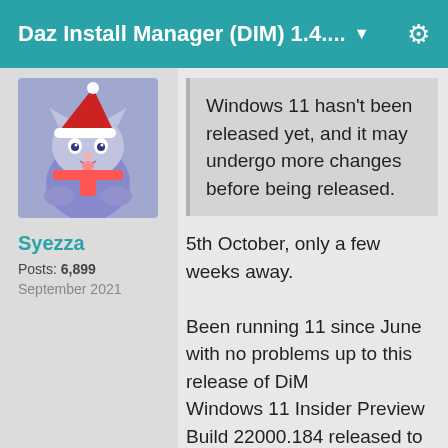Daz Install Manager (DIM) 1.4.... ▼
[Figure (illustration): User avatar showing a cartoon cat character wearing a Santa hat on a blue/purple background]
Syezza
Posts: 6,899
September 2021
Windows 11 hasn't been released yet, and it may undergo more changes before being released.
5th October, only a few weeks away.
Been running 11 since June with no problems up to this release of DiM
Windows 11 Insider Preview Build 22000.184 released to the Beta Channel and commercial PCs in the Release Preview Channel.